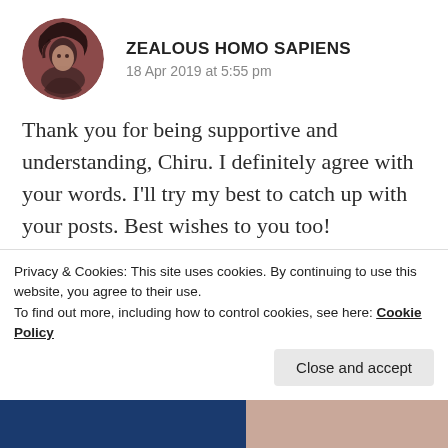ZEALOUS HOMO SAPIENS
18 Apr 2019 at 5:55 pm
Thank you for being supportive and understanding, Chiru. I definitely agree with your words. I'll try my best to catch up with your posts. Best wishes to you too!
★ Liked by 1 person
REPLY
Privacy & Cookies: This site uses cookies. By continuing to use this website, you agree to their use.
To find out more, including how to control cookies, see here: Cookie Policy
Close and accept